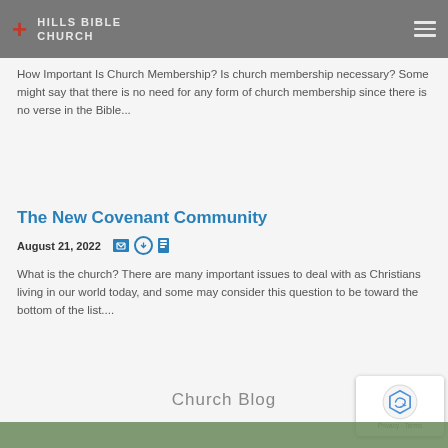Hills Bible Church
How Important Is Church Membership? Is church membership necessary? Some might say that there is no need for any form of church membership since there is no verse in the Bible...
The New Covenant Community
August 21, 2022
What is the church? There are many important issues to deal with as Christians living in our world today, and some may consider this question to be toward the bottom of the list....
Church Blog